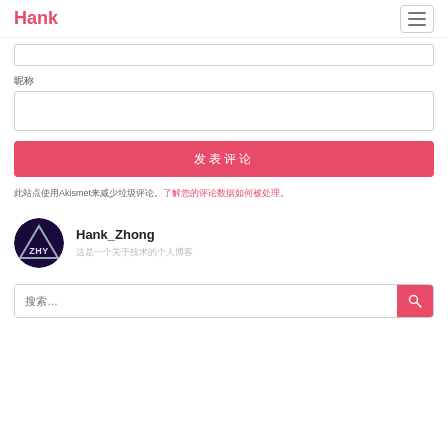Hank
[Figure (screenshot): Form input box (empty text field)]
昵称
[Figure (screenshot): Form input box for nickname (empty text field)]
发表评论
此站点使用Akismet来减少垃圾评论。了解您的评论数据如何被处理。
[Figure (photo): Author avatar: circular logo with triangle and ZHY text on purple/dark background]
Hank_Zhong
这是一个关于技术的个人博客
[Figure (screenshot): Search bar with placeholder text and pink search button]